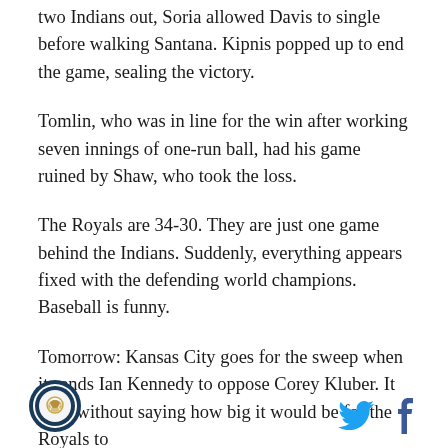two Indians out, Soria allowed Davis to single before walking Santana. Kipnis popped up to end the game, sealing the victory.
Tomlin, who was in line for the win after working seven innings of one-run ball, had his game ruined by Shaw, who took the loss.
The Royals are 34-30. They are just one game behind the Indians. Suddenly, everything appears fixed with the defending world champions. Baseball is funny.
Tomorrow: Kansas City goes for the sweep when it sends Ian Kennedy to oppose Corey Kluber. It goes without saying how big it would be for the Royals to
[Figure (logo): Circular sports logo with dark blue ring border and baseball/glove graphic in center on white background]
[Figure (other): Twitter bird icon in cyan/blue and Facebook 'f' icon in dark blue - social media share buttons]